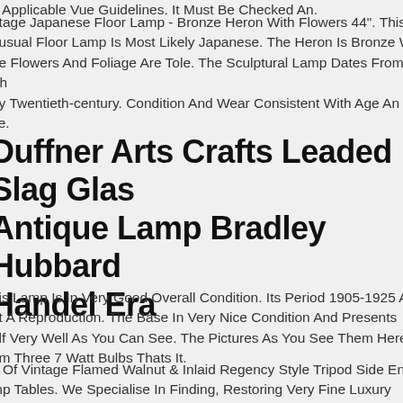e Applicable Vue Guidelines. It Must Be Checked An.
ntage Japanese Floor Lamp - Bronze Heron With Flowers 44". This Inusual Floor Lamp Is Most Likely Japanese. The Heron Is Bronze Wh he Flowers And Foliage Are Tole. The Sculptural Lamp Dates From Th rly Twentieth-century. Condition And Wear Consistent With Age An se.
Duffner Arts Crafts Leaded Slag Glass Antique Lamp Bradley Hubbard Handel Era
his Lamp Is In Very Good Overall Condition. Its Period 1905-1925 An ot A Reproduction. The Base In Very Nice Condition And Presents elf Very Well As You Can See. The Pictures As You See Them Here om Three 7 Watt Bulbs Thats It.
ir Of Vintage Flamed Walnut & Inlaid Regency Style Tripod Side En mp Tables. We Specialise In Finding, Restoring Very Fine Luxury